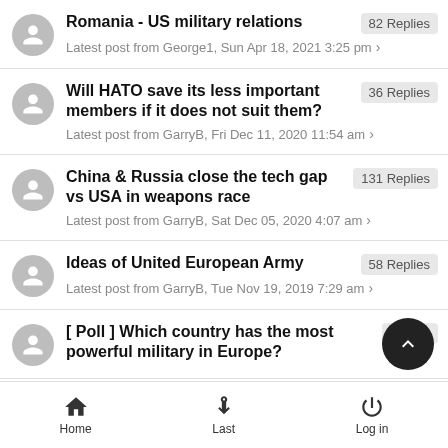Romania - US military relations | 82 Replies | Latest post from George1, Sun Apr 18, 2021 3:25 pm
Will HATO save its less important members if it does not suit them? | 36 Replies | Latest post from GarryB, Fri Dec 11, 2020 11:54 am
China & Russia close the tech gap vs USA in weapons race | 131 Replies | Latest post from GarryB, Sat Dec 05, 2020 4:07 am
Ideas of United European Army | 58 Replies | Latest post from GarryB, Tue Nov 19, 2019 7:29 am
[ Poll ] Which country has the most powerful military in Europe? | 62 Replies
Home | Last | Log in